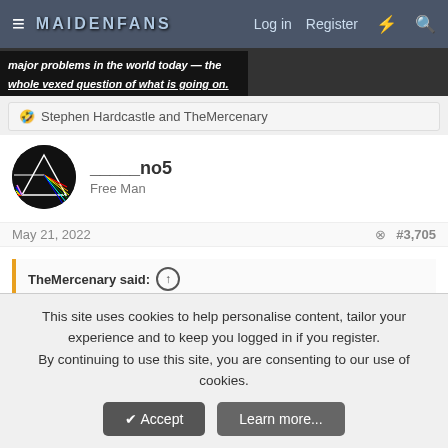MaidenFans — Log in  Register
[Figure (photo): Banner image with text overlay: 'major problems in the world today — the whole vexed question of what is going on.']
🤣 Stephen Hardcastle and TheMercenary
_____no5
Free Man
May 21, 2022   #3,705
TheMercenary said: ↑

The ranking of Maiden albums by the french youtuber and radio host Heavy Ma Vie. Your thoughts ?
This site uses cookies to help personalise content, tailor your experience and to keep you logged in if you register.
By continuing to use this site, you are consenting to our use of cookies.
[Accept]  [Learn more...]